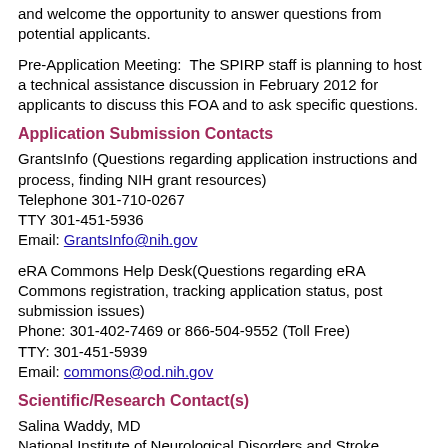and welcome the opportunity to answer questions from potential applicants.
Pre-Application Meeting:  The SPIRP staff is planning to host a technical assistance discussion in February 2012 for applicants to discuss this FOA and to ask specific questions.
Application Submission Contacts
GrantsInfo (Questions regarding application instructions and process, finding NIH grant resources)
Telephone 301-710-0267
TTY 301-451-5936
Email: GrantsInfo@nih.gov
eRA Commons Help Desk(Questions regarding eRA Commons registration, tracking application status, post submission issues)
Phone: 301-402-7469 or 866-504-9552 (Toll Free)
TTY: 301-451-5939
Email: commons@od.nih.gov
Scientific/Research Contact(s)
Salina Waddy, MD
National Institute of Neurological Disorders and Stroke